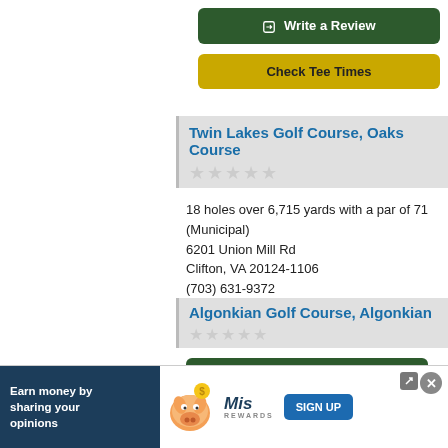Write a Review
Check Tee Times
Twin Lakes Golf Course, Oaks Course
18 holes over 6,715 yards with a par of 71 (Municipal)
6201 Union Mill Rd
Clifton, VA 20124-1106
(703) 631-9372
14 miles from the center of Aldie.
Write a Review
Check Tee Times
Algonkian Golf Course, Algonkian
par of 72
[Figure (infographic): Advertisement banner: Earn money by sharing your opinions, MiRewards sign up, with pig mascot graphic]